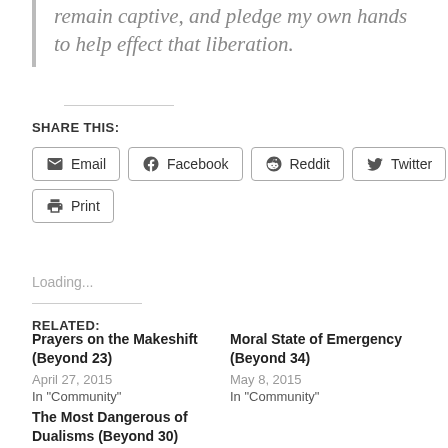remain captive, and pledge my own hands to help effect that liberation.
SHARE THIS:
Email  Facebook  Reddit  Twitter  Print
Loading...
RELATED:
Prayers on the Makeshift (Beyond 23)
April 27, 2015
In "Community"
Moral State of Emergency (Beyond 34)
May 8, 2015
In "Community"
The Most Dangerous of Dualisms (Beyond 30)
May 4, 2015